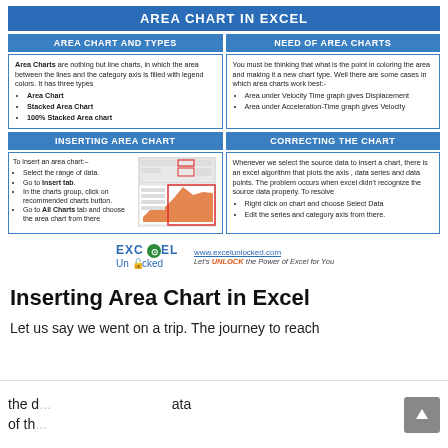AREA CHART IN EXCEL
AREA CHART AND TYPES
NEED OF AREA CHARTS
Area Charts are nothing but line charts, in which the area between the lines and the category axis is filled with legend colors. It has three types: Area Chart, Stacked Area Chart, 100% Stacked Area chart
You must be thinking that what is the point in coloring the area and making it a new chart type. Well there are some cases in which area charts work best:- Area under Velocity Time graph gives Displacement. Area under Acceleration-Time graph gives Velocity
INSERTING AREA CHART
CORRECTING THE CHART
To insert an area chart:- Select the range of data. Go to Insert tab. In the charts group, click on recommended charts button. Go to All Charts tab and choose the area chart from there
[Figure (screenshot): Screenshot of Excel ribbon showing Insert tab with chart options and area chart preview]
Whenever we select the source data to insert a chart, there is an excel algorithm that plots the axis, data series and data points. The problem occurs when excel didn't recognize the source data properly. To resolve: Right click on chart and choose Select Data. Edit the series and category axis from there.
[Figure (logo): Excel Unlocked logo with text: www.excelunlocked.com Let's UNLOCK the Power of Excel for You]
Inserting Area Chart in Excel
Let us say we went on a trip. The journey to reach the d... ata of th...